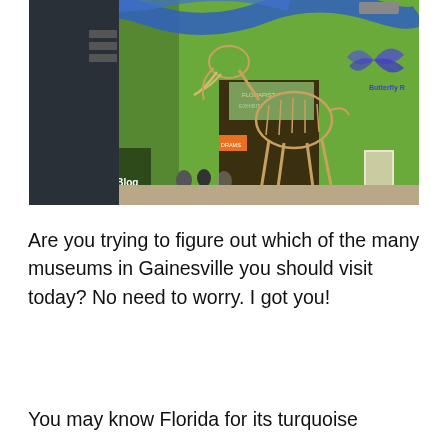[Figure (photo): Interior of a natural history museum in Gainesville showing a large mammoth skeleton on display against a green wall with blue ribbon art installations hanging from the ceiling. A butterfly exhibit sign is visible. Visitors are gathered around. The Florida Hipster Blog watermark logo is in the lower left corner.]
Are you trying to figure out which of the many museums in Gainesville you should visit today? No need to worry. I got you!
You may know Florida for its turquoise